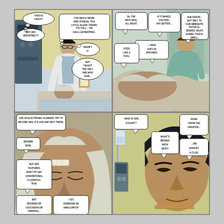[Figure (illustration): Comic book page with four panels. Panel 1 (top-left): A doctor/nurse in white coat stands over a patient in a hospital bed. Thought bubbles read 'THIS IS CRAZY.', 'WHY AM I HESITATING??', 'TOO MUCH WORK AND STRESS, TOO LITTLE SLEEP, TAKING ITS TOLL -- I'M HALLUCINATING.', 'AREN'T I?', 'BUT I'M NOT THE ONLY ONE WHO SAW...'. Panel 2 (top-right): A man in teal scrubs stands in background, hand on patient. Bubbles: 'Ok. THE KID'S REAL ALL RIGHT.', 'IF IT MAKES YOU FEEL ANY BETTER...', '...I WAS JUST AS SPOOKED.', 'SHE EXISTS-- BUT ONLY TO OUR IMMEDIATE PHYSICAL SENSES: SIGHT, SOUND, TOUCH, SMELL.', 'I FEEL LIKE A FOOL.'. Panel 3 (bottom-left): Close-up of the female patient with white/silver hair, bandage on forehead, eyes closed. Thought bubbles: 'USE AN ELECTRONIC SCANNER, TRY TO RECORD HER, IT'S LIKE SHE ISN'T THERE.', 'BROWN SKIN.', 'BUT HER FEATURES DON'T FIT ANY CONVENTIONAL CLASSIFICA-TION.', 'NOT NEGROID OR CAUCASIAN OR ORIENTAL--', '--YET, SOMEHOW AN AMALGAM OF'. Panel 4 (bottom-right): Close-up of a dark-haired man thinking, IV drip visible. Bubbles: '--WHO IS SHE, STUART?', 'WHAT'S WRONG WITH HER?!', 'ASIDE FROM THE OBVIOUS...', '...WE HAVEN'T A CLUE.']